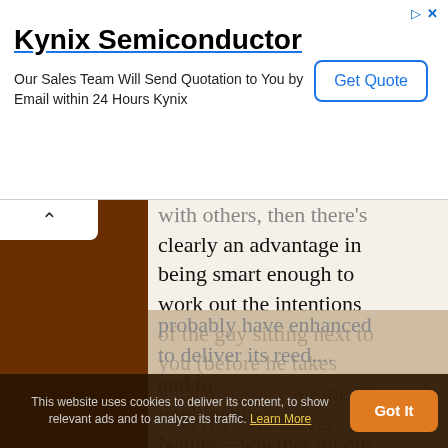[Figure (screenshot): Advertisement banner for Kynix Semiconductor with title, subtitle, and Get Quote button]
with others, then there's clearly an advantage in being smart enough to work out the intentions of the guy sitting next to you (before he takes your mate or your meal). And if you're clever enough to outwit the other members of your social circle, you'll probably have enhanced to deliver its reed.... to deliver its and to intelligence.... Nature—whether on our
This website uses cookies to deliver its content, to show relevant ads and to analyze its traffic. Learn More